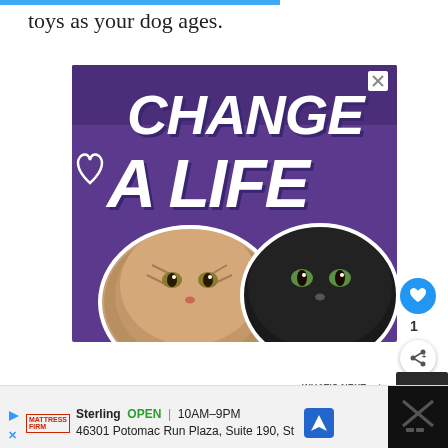toys as your dog ages.
[Figure (illustration): Purple advertisement banner showing two cat faces (a tabby and a black cat) with bold white italic text reading CHANGE A LIFE and a heart outline icon]
1
WHAT'S NEXT → 5 Best Dog Harnesses f...
Sterling  OPEN  10AM–9PM  46301 Potomac Run Plaza, Suite 190, St